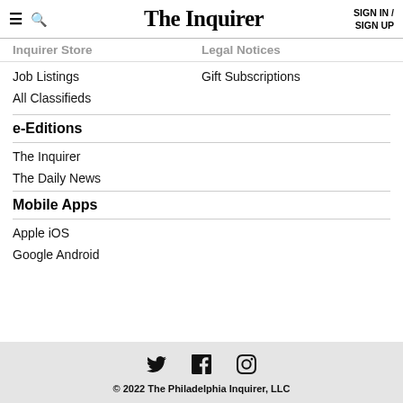The Inquirer | SIGN IN / SIGN UP
Inquirer Store
Legal Notices
Job Listings
Gift Subscriptions
All Classifieds
e-Editions
The Inquirer
The Daily News
Mobile Apps
Apple iOS
Google Android
© 2022 The Philadelphia Inquirer, LLC